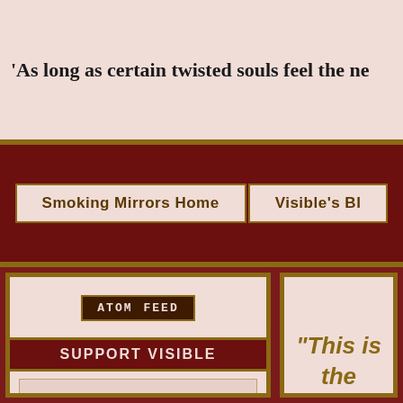'As long as certain twisted souls feel the ne
Smoking Mirrors Home  |  Visible's Bl
[Figure (screenshot): Atom Feed button: dark brown box with 'ATOM FEED' text in monospace font]
SUPPORT VISIBLE
[Figure (infographic): Donate Bitcoin banner with orange heart/Bitcoin logo, text 'DONATE BITCOIN' on pinkish background]
[Figure (other): Bitcoin QR code for donations]
"This is the
SU
Dog Poet Transmitting
So....
[Figure (screenshot): Scroll to Top button in dark red with gold text]